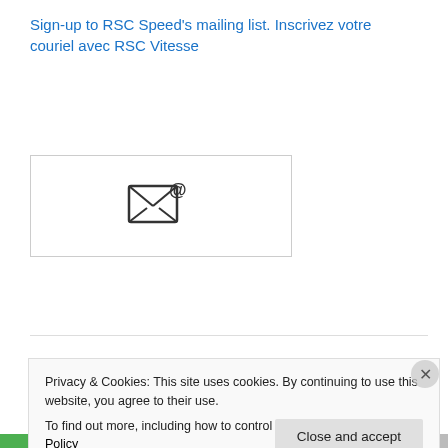Sign-up to RSC Speed's mailing list. Inscrivez votre couriel avec RSC Vitesse
[Figure (illustration): Email icon: envelope with @ symbol in a bordered box]
[Figure (logo): Roller Marathon Canada logo with maple leaf and inline skate wheels]
Privacy & Cookies: This site uses cookies. By continuing to use this website, you agree to their use.
To find out more, including how to control cookies, see here: Cookie Policy
Close and accept